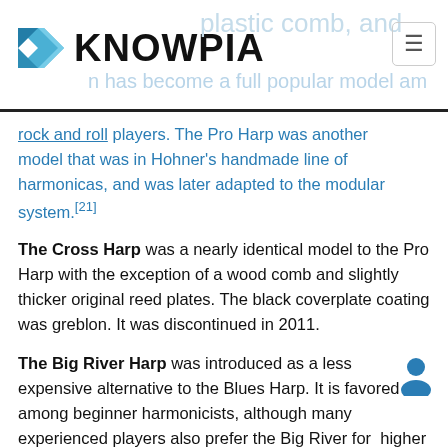KNOWPIA
rock and roll players. The Pro Harp was another model that was in Hohner's handmade line of harmonicas, and was later adapted to the modular system.[21]
The Cross Harp was a nearly identical model to the Pro Harp with the exception of a wood comb and slightly thicker original reed plates. The black coverplate coating was greblon. It was discontinued in 2011.
The Big River Harp was introduced as a less expensive alternative to the Blues Harp. It is favored among beginner harmonicists, although many experienced players also prefer the Big River for higher natural volume. It features a plastic comb and